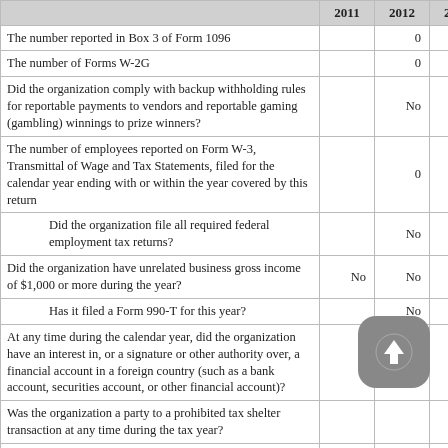|  | 2011 | 2012 | 2013 |
| --- | --- | --- | --- |
| The number reported in Box 3 of Form 1096 |  | 0 | 0 |
| The number of Forms W-2G |  | 0 | 0 |
| Did the organization comply with backup withholding rules for reportable payments to vendors and reportable gaming (gambling) winnings to prize winners? |  | No | No |
| The number of employees reported on Form W-3, Transmittal of Wage and Tax Statements, filed for the calendar year ending with or within the year covered by this return |  | 0 | 0 |
| Did the organization file all required federal employment tax returns? |  | No | No |
| Did the organization have unrelated business gross income of $1,000 or more during the year? | No | No | No |
| Has it filed a Form 990-T for this year? |  | No | No |
| At any time during the calendar year, did the organization have an interest in, or a signature or other authority over, a financial account in a foreign country (such as a bank account, securities account, or other financial account)? |  | No | No |
| Was the organization a party to a prohibited tax shelter transaction at any time during the tax year? |  |  | No |
| Did any taxable party notify the organization that it was or is a party to a prohibited tax shelter transaction? |  | No | No |